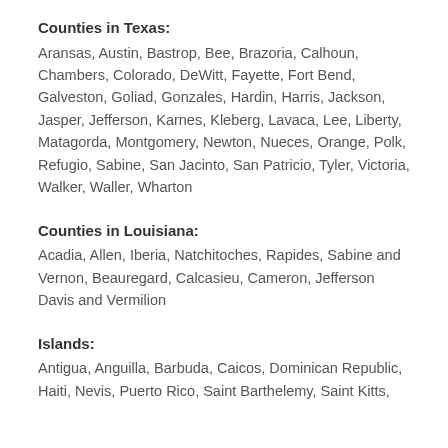Counties in Texas:
Aransas, Austin, Bastrop, Bee, Brazoria, Calhoun, Chambers, Colorado, DeWitt, Fayette, Fort Bend, Galveston, Goliad, Gonzales, Hardin, Harris, Jackson, Jasper, Jefferson, Karnes, Kleberg, Lavaca, Lee, Liberty, Matagorda, Montgomery, Newton, Nueces, Orange, Polk, Refugio, Sabine, San Jacinto, San Patricio, Tyler, Victoria, Walker, Waller, Wharton
Counties in Louisiana:
Acadia, Allen, Iberia, Natchitoches, Rapides, Sabine and Vernon, Beauregard, Calcasieu, Cameron, Jefferson Davis and Vermilion
Islands:
Antigua, Anguilla, Barbuda, Caicos, Dominican Republic, Haiti, Nevis, Puerto Rico, Saint Barthelemy, Saint Kitts,